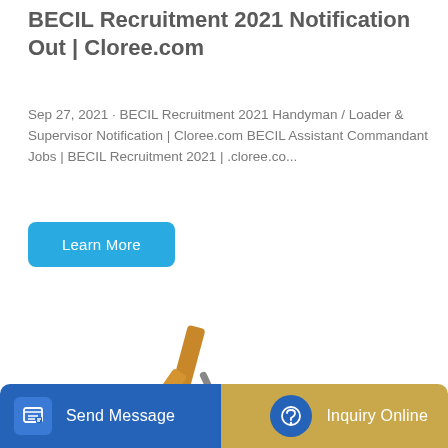BECIL Recruitment 2021 Notification Out | Cloree.com
Sep 27, 2021 · BECIL Recruitment 2021 Handyman / Loader & Supervisor Notification | Cloree.com BECIL Assistant Commandant Jobs | BECIL Recruitment 2021 | .cloree.co...
Learn More
[Figure (photo): Yellow SANY excavator/heavy construction machine on white background]
Send Message
Inquiry Online